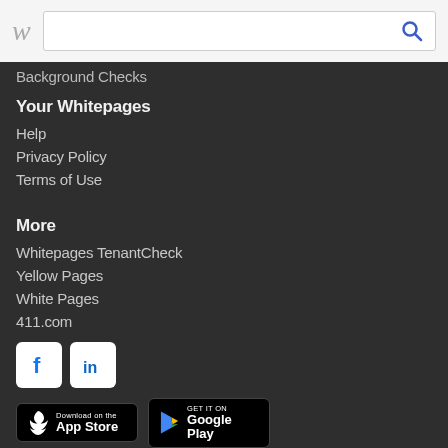Whitepages header with logo and search bar
Background Checks
Your Whitepages
Help
Privacy Policy
Terms of Use
More
Whitepages TenantCheck
Yellow Pages
White Pages
411.com
[Figure (logo): Facebook and LinkedIn social media icon buttons]
[Figure (infographic): Download on the App Store and Get it on Google Play badges]